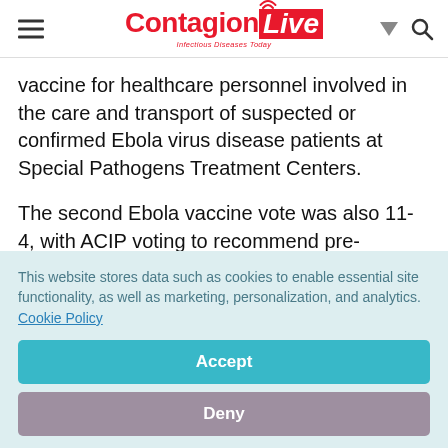ContagionLive – Infectious Diseases Today
vaccine for healthcare personnel involved in the care and transport of suspected or confirmed Ebola virus disease patients at Special Pathogens Treatment Centers.
The second Ebola vaccine vote was also 11-4, with ACIP voting to recommend pre-exposure
This website stores data such as cookies to enable essential site functionality, as well as marketing, personalization, and analytics. Cookie Policy
Accept
Deny